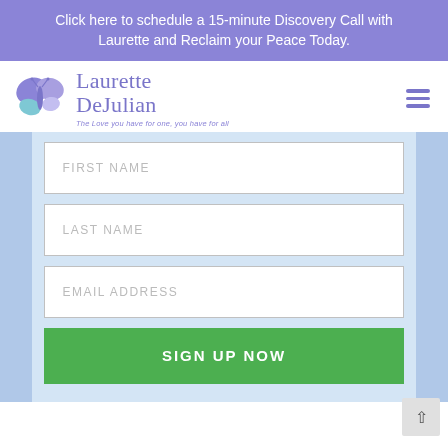Click here to schedule a 15-minute Discovery Call with Laurette and Reclaim your Peace Today.
[Figure (logo): Laurette DeJulian logo with butterfly graphic and tagline 'The Love you have for one, you have for all']
FIRST NAME
LAST NAME
EMAIL ADDRESS
SIGN UP NOW